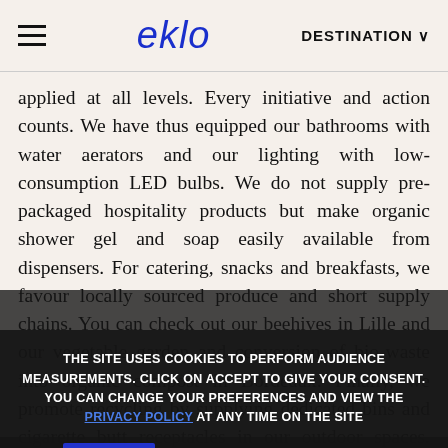eklo | DESTINATION
applied at all levels. Every initiative and action counts. We have thus equipped our bathrooms with water aerators and our lighting with low-consumption LED bulbs. We do not supply pre-packaged hospitality products but make organic shower gel and soap easily available from dispensers. For catering, snacks and breakfasts, we favour locally sourced produce and short supply chains. You can check out our beehives in Lille and our vegetable garden and conversion of bio-waste into organic compost in Bordeaux. Finally, we promote recycling by supplying dedicated bins and cigarette butt receptacles in our outdoor spaces. And,
THE SITE USES COOKIES TO PERFORM AUDIENCE MEASUREMENTS. CLICK ON ACCEPT TO GIVE YOUR CONSENT. YOU CAN CHANGE YOUR PREFERENCES AND VIEW THE PRIVACY POLICY AT ANY TIME ON THE SITE
I agree | I decline | Customize